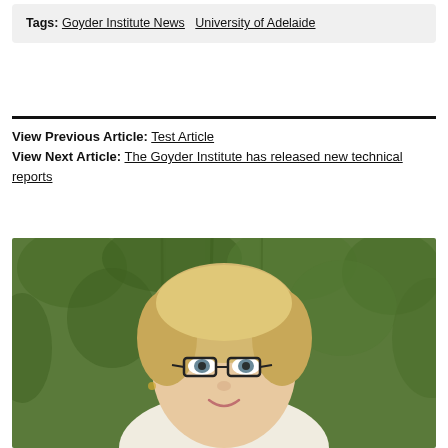Tags: Goyder Institute News  University of Adelaide
View Previous Article: Test Article
View Next Article: The Goyder Institute has released new technical reports
[Figure (photo): Portrait photo of a smiling woman with short blonde hair and dark-rimmed glasses, wearing a white top, outdoors with green foliage background.]